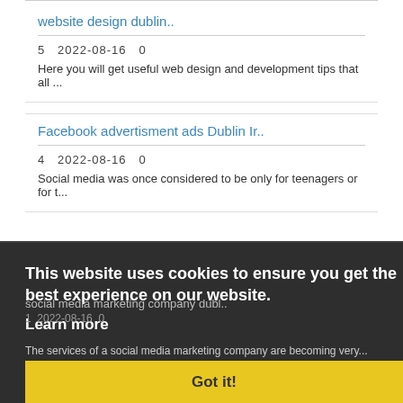website design dublin..
5   2022-08-16   0
Here you will get useful web design and development tips that all ...
Facebook advertisment ads Dublin Ir..
4   2022-08-16   0
Social media was once considered to be only for teenagers or for t...
This website uses cookies to ensure you get the best experience on our website.
Learn more
social media marketing company dubl..
1   2022-08-16   0
The services of a social media marketing company are becoming very...
Got it!
social media marketing company dubl..